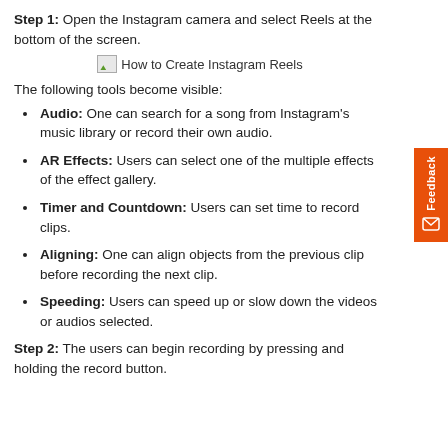Step 1: Open the Instagram camera and select Reels at the bottom of the screen.
[Figure (illustration): Broken image placeholder with caption 'How to Create Instagram Reels']
The following tools become visible:
Audio: One can search for a song from Instagram's music library or record their own audio.
AR Effects: Users can select one of the multiple effects of the effect gallery.
Timer and Countdown: Users can set time to record clips.
Aligning: One can align objects from the previous clip before recording the next clip.
Speeding: Users can speed up or slow down the videos or audios selected.
Step 2: The users can begin recording by pressing and holding the record button.